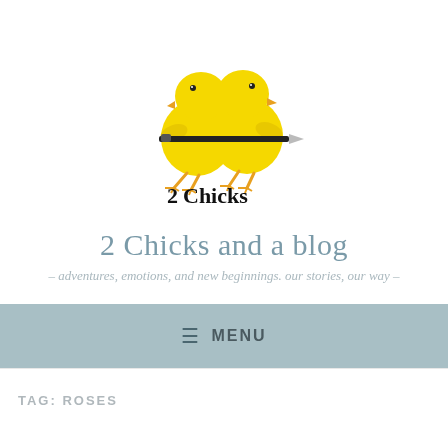[Figure (logo): Two yellow cartoon chicks holding a black pen, with text '2Chicks and a pen' below]
2 Chicks and a blog
- adventures, emotions, and new beginnings. our stories, our way -
≡ MENU
TAG: ROSES